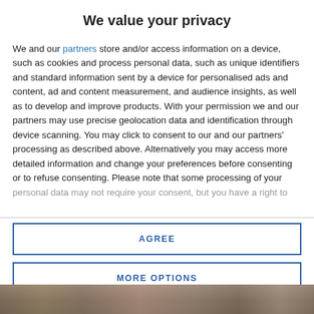We value your privacy
We and our partners store and/or access information on a device, such as cookies and process personal data, such as unique identifiers and standard information sent by a device for personalised ads and content, ad and content measurement, and audience insights, as well as to develop and improve products. With your permission we and our partners may use precise geolocation data and identification through device scanning. You may click to consent to our and our partners' processing as described above. Alternatively you may access more detailed information and change your preferences before consenting or to refuse consenting. Please note that some processing of your personal data may not require your consent, but you have a right to
AGREE
MORE OPTIONS
[Figure (photo): Photo strip at the bottom of the page showing an outdoor scene]